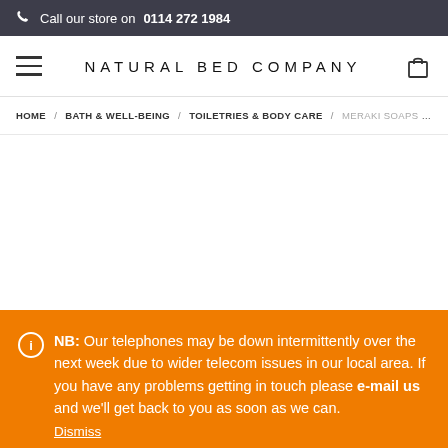Call our store on 0114 272 1984
NATURAL BED COMPANY
HOME / BATH & WELL-BEING / TOILETRIES & BODY CARE / MERAKI SOAPS – GI...
NB: Our telephones may be down intermittently over the next week due to wider telecom issues in our local area. If you have any problems getting in touch please e-mail us and we'll get back to you as soon as we can. Dismiss